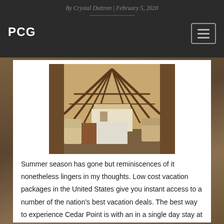By Crystal Duttron | February 5, 2020
PCG
[Figure (photo): Interior of a large barn with high wooden arched roof trusses, storage bags and equipment stacked along the sides, and a white building visible through the open far end.]
Summer season has gone but reminiscences of it nonetheless lingers in my thoughts. Low cost vacation packages in the United States give you instant access to a number of the nation’s best vacation deals. The best way to experience Cedar Point is with an in a single day stay at one in all our three lodges, two marinas or our campground